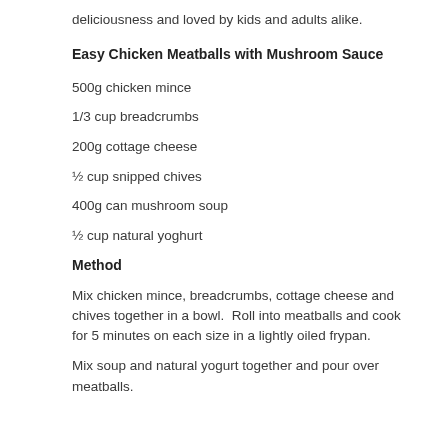deliciousness and loved by kids and adults alike.
Easy Chicken Meatballs with Mushroom Sauce
500g chicken mince
1/3 cup breadcrumbs
200g cottage cheese
½ cup snipped chives
400g can mushroom soup
½ cup natural yoghurt
Method
Mix chicken mince, breadcrumbs, cottage cheese and chives together in a bowl.  Roll into meatballs and cook for 5 minutes on each size in a lightly oiled frypan.
Mix soup and natural yogurt together and pour over meatballs.